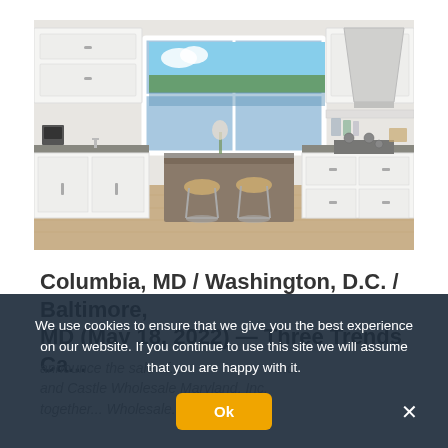[Figure (photo): Rendered 3D image of a modern white kitchen with gray stone countertops, a large kitchen island with bar stools, open shelving, and a window with a view of green trees and a pond.]
Columbia, MD / Washington, D.C. / Baltimore, MD (May 18, 2022) — Three Trends Ca...
announce the sale of... and Castle Wholesale Maryland, Inc.... together... Wholesale...
We use cookies to ensure that we give you the best experience on our website. If you continue to use this site we will assume that you are happy with it.